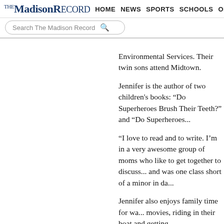Madison Record | HOME | NEWS | SPORTS | SCHOOLS | OPINION
Environmental Services. Their twin sons attend Midtown.
Jennifer is the author of two children's books: "Do Superheroes Brush Their Teeth?" and "Do Superheroes..."
"I love to read and to write. I'm in a very awesome group of moms who like to get together to discuss... and was one class short of a minor in da..."
Jennifer also enjoys family time for wa... movies, riding in their boat and getting...
[Figure (screenshot): Social sharing buttons: email (gray), Facebook (blue), Twitter (light blue), Google+ (red), and a Facebook Like button showing 193 likes]
[Figure (photo): Close/dismiss button (black circle with X), followed by an 'Around the Web' section heading in red, and a photo strip showing a woman with dark hair]